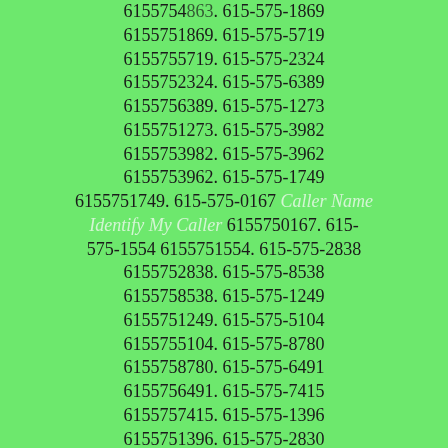6155754089. 615-575-1869 6155751869. 615-575-5719 6155755719. 615-575-2324 6155752324. 615-575-6389 6155756389. 615-575-1273 6155751273. 615-575-3982 6155753982. 615-575-3962 6155753962. 615-575-1749 6155751749. 615-575-0167 Caller Name Identify My Caller 6155750167. 615-575-1554 6155751554. 615-575-2838 6155752838. 615-575-8538 6155758538. 615-575-1249 6155751249. 615-575-5104 6155755104. 615-575-8780 6155758780. 615-575-6491 6155756491. 615-575-7415 6155757415. 615-575-1396 6155751396. 615-575-2830 6155752830. 615-575-5776 6155755776. 615-575-5589 6155755589. 615-575-4089 6155754089. 615-575-0907 Caller Name Identify My Caller 6155750907. 615-575-1146 6155751146. 615-575-7331 6155757331. 615-575-2194